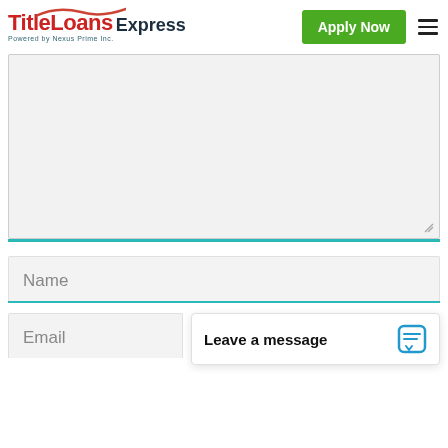[Figure (logo): TitleLoans Express logo with red swoosh, powered by Nexus Prime Inc.]
Apply Now
[Figure (screenshot): Gray textarea input field with teal bottom border and resize handle]
Name
Email
Leave a message